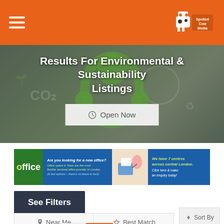Spotted Cow Media — Navigation header with hamburger menu and logo
Results For Environmental & Sustainability Listings
[Figure (screenshot): Open Now button on hero image background with environmental/sustainability imagery (green plant headphones, CO2 icons)]
[Figure (screenshot): Advertisement banner: Office space in Town — Are you looking for a new office? Office space in Town are the most flexible serviced office provider in London. We have 7 centres across central London. Click here & make an enquiry today!]
See Filters
Near Me
Best Match
Sort By